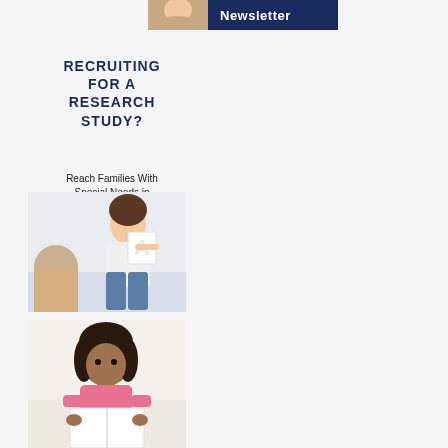[Figure (photo): Newsletter banner with smiling child and dark blue background with 'Newsletter' text]
RECRUITING FOR A RESEARCH STUDY?
Reach Families With Special Needs in Greater Massachusetts
[Figure (photo): Woman holding letter 'A' card showing it to a child, educational/therapy setting]
[Figure (photo): Young girl with dark hair reading a white book, seated on a white surface]